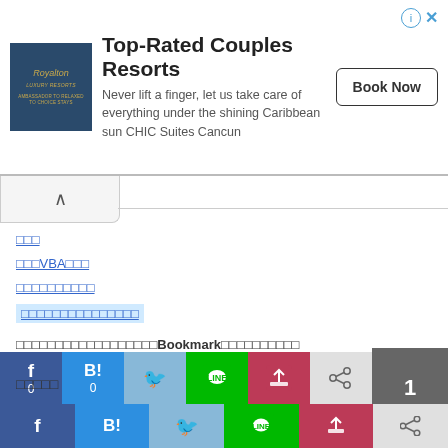[Figure (screenshot): Advertisement banner for Top-Rated Couples Resorts with Royalton logo, Book Now button, info and close icons]
[Figure (screenshot): Collapsed navigation tab with chevron up icon and horizontal divider line]
□□□
□□□VBA□□□
□□□□□□□□□□
□□□□□□□□□□□□□□□
□□□□□□□□□□□□□□□□□□Bookmark□□□□□□□□□□
[Figure (screenshot): Social share bar with Facebook (f, 0), Hatena Bookmark (B!, 0), Twitter bird, LINE, Pocket, and share icons]
□□□□□
[Figure (screenshot): Bottom social share bar with Facebook, Hatena Bookmark, Twitter, LINE, Pocket, share icons and page number 1 box]